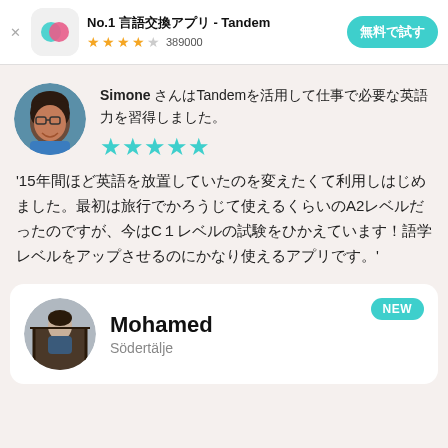[Figure (screenshot): App advertisement banner for Tandem language exchange app with icon, star rating 389000 reviews, and a teal call-to-action button]
No.1 言語交換アプリ - Tandem ★★★★☆ 389000
無料で試す
[Figure (photo): Circular profile photo of Simone, a smiling woman with glasses and curly hair wearing a blue top]
Simone さんはTandemを活用して仕事で必要な英語力を習得しました。
★★★★★
'15年間ほど英語を放置していたのを変えたくて利用しはじめました。最初は旅行でかろうじて使えるくらいのA2レベルだったのですが、今はC１レベルの試験をひかえています！語学レベルをアップさせるのにかなり使えるアプリです。'
[Figure (photo): Circular profile photo of Mohamed sitting on a decorative throne-like chair]
NEW
Mohamed
Södertälje